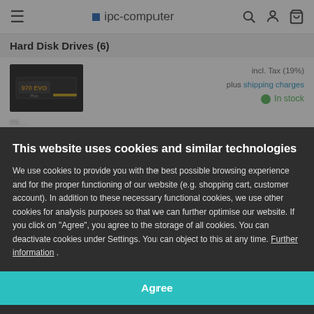ipc-computer
Hard Disk Drives (6)
[Figure (photo): Samsung 970 EVO Plus SSD drive product image on dark background]
incl. Tax (19%)
plus shipping charges
In stock
This website uses cookies and similar technologies
We use cookies to provide you with the best possible browsing experience and for the proper functioning of our website (e.g. shopping cart, customer account). In addition to these necessary functional cookies, we use other cookies for analysis purposes so that we can further optimise our website. If you click on "Agree", you agree to the storage of all cookies. You can deactivate cookies under Settings. You can object to this at any time. Further information .
Agree
Settings
Memory (3)